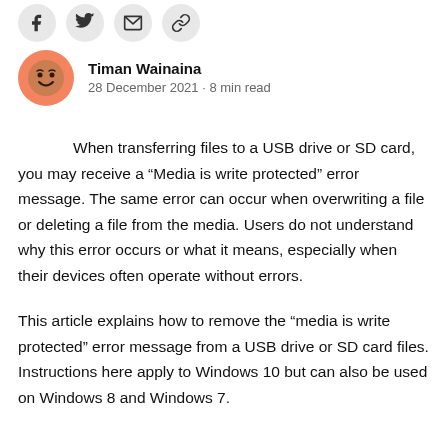[Figure (other): Row of four circular social sharing icon buttons (Facebook, Twitter, email/envelope, link/chain) at top of page]
Timan Wainaina
28 December 2021 · 8 min read
When transferring files to a USB drive or SD card, you may receive a “Media is write protected” error message. The same error can occur when overwriting a file or deleting a file from the media. Users do not understand why this error occurs or what it means, especially when their devices often operate without errors.
This article explains how to remove the “media is write protected” error message from a USB drive or SD card files. Instructions here apply to Windows 10 but can also be used on Windows 8 and Windows 7.